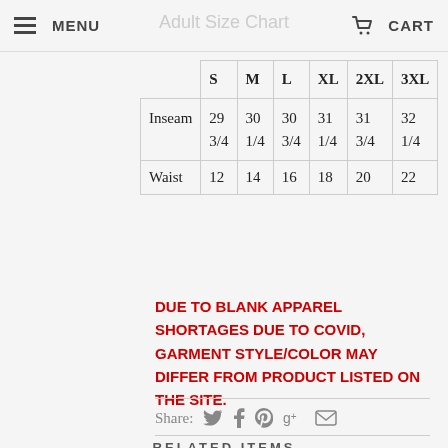MENU  Adult Size Chart  CART
|  | S | M | L | XL | 2XL | 3XL |
| --- | --- | --- | --- | --- | --- | --- |
| Inseam | 29 3/4 | 30 1/4 | 30 3/4 | 31 1/4 | 31 3/4 | 32 1/4 |
| Waist | 12 | 14 | 16 | 18 | 20 | 22 |
DUE TO BLANK APPAREL SHORTAGES DUE TO COVID, GARMENT STYLE/COLOR MAY DIFFER FROM PRODUCT LISTED ON THE SITE.
Share: